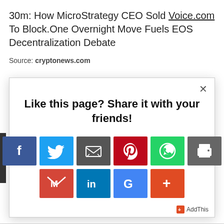30m: How MicroStrategy CEO Sold Voice.com To Block.One Overnight Move Fuels EOS Decentralization Debate
Source: cryptonews.com
[Figure (screenshot): Modal popup with social share buttons. Title: 'Like this page? Share it with your friends!' Buttons: Facebook, Twitter, Email, Pinterest, WhatsApp, Print (top row); Gmail, LinkedIn, Google+, More/AddThis (bottom row). Close X button in top right. AddThis branding in bottom right.]